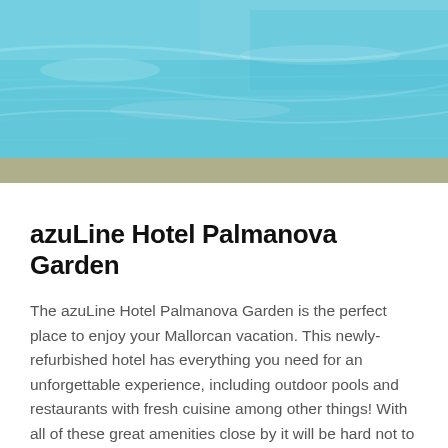[Figure (photo): Outdoor hotel swimming pool with blue water and turquoise pool surroundings, aerial/close view]
azuLine Hotel Palmanova Garden
The azuLine Hotel Palmanova Garden is the perfect place to enjoy your Mallorcan vacation. This newly-refurbished hotel has everything you need for an unforgettable experience, including outdoor pools and restaurants with fresh cuisine among other things! With all of these great amenities close by it will be hard not to fall in love with this beautiful destination.
Azuline hotels are considered to be the best in family tourism, because we have created a warm and safe environment for children of all ages. We offer our guests an array of amenities specially designed for their needs while offering our guests comfortable accommodation at affordable